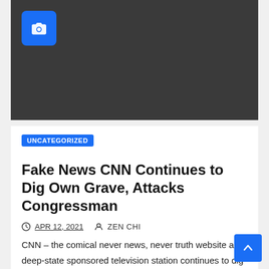[Figure (photo): Dark gray placeholder image with a blue camera icon in the top-left corner]
UNCATEGORIZED
Fake News CNN Continues to Dig Own Grave, Attacks Congressman
APR 12, 2021   ZEN CHI
CNN – the comical never news, never truth website and deep-state sponsored television station continues to dig it's own grave by making up stories and just telling downright lies. They…